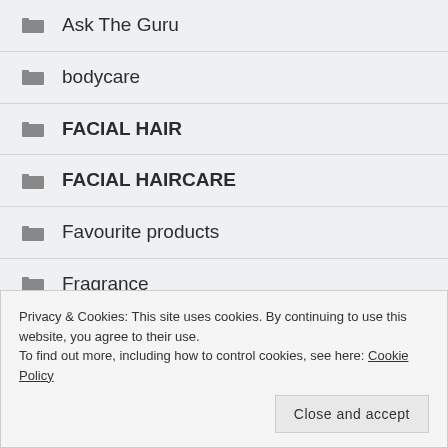Ask The Guru
bodycare
FACIAL HAIR
FACIAL HAIRCARE
Favourite products
Fragrance
Privacy & Cookies: This site uses cookies. By continuing to use this website, you agree to their use.
To find out more, including how to control cookies, see here: Cookie Policy
Close and accept